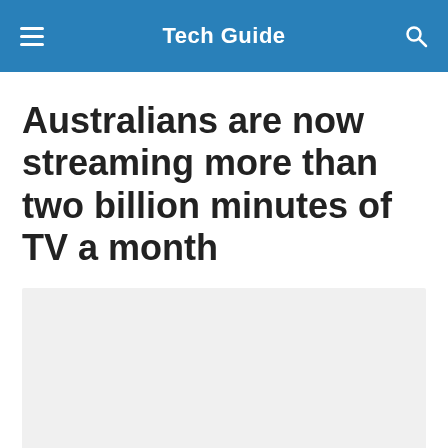Tech Guide
Australians are now streaming more than two billion minutes of TV a month
[Figure (photo): Light grey placeholder image area below the article title]